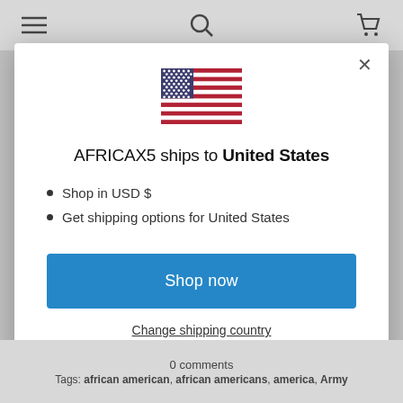navigation bar with hamburger menu, search, and cart icons
[Figure (illustration): US flag emoji / icon displayed at top center of modal dialog]
AFRICAX5 ships to United States
Shop in USD $
Get shipping options for United States
Shop now
Change shipping country
0 comments
Tags: african american, african americans, america, Army